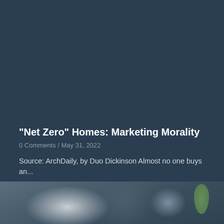[Figure (photo): Dark blue-gray background filling the upper portion of the page, representing a webpage screenshot with a dark theme]
"Net Zero" Homes: Marketing Morality
0 Comments / May 31, 2022
Source: ArchDaily, by Duo Dickinson Almost no one buys an...
[Figure (photo): Blurred thumbnail image showing a blurry indoor scene with light and dark tones, green plant visible on the right side]